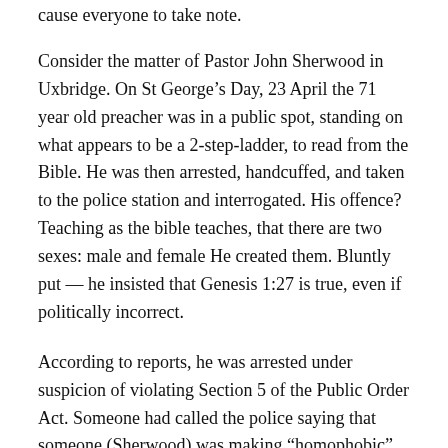cause everyone to take note.
Consider the matter of Pastor John Sherwood in Uxbridge. On St George's Day, 23 April the 71 year old preacher was in a public spot, standing on what appears to be a 2-step-ladder, to read from the Bible. He was then arrested, handcuffed, and taken to the police station and interrogated. His offence? Teaching as the bible teaches, that there are two sexes: male and female He created them. Bluntly put — he insisted that Genesis 1:27 is true, even if politically incorrect.
According to reports, he was arrested under suspicion of violating Section 5 of the Public Order Act. Someone had called the police saying that someone (Sherwood) was making “homophobic” comments. One of the arresting police officers declared that some matters simply cannot be referred to in public places, implying that